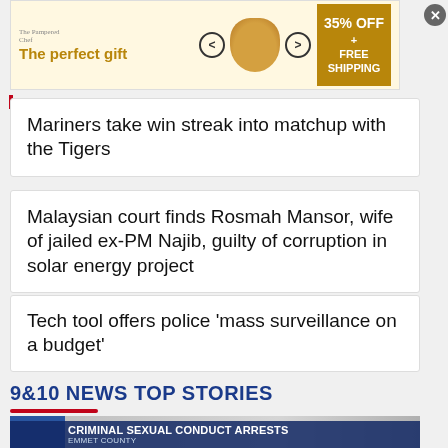[Figure (other): Advertisement banner: 'The perfect gift' with bowl image, navigation arrows, and '35% OFF + FREE SHIPPING' label]
Mariners take win streak into matchup with the Tigers
Malaysian court finds Rosmah Mansor, wife of jailed ex-PM Najib, guilty of corruption in solar energy project
Tech tool offers police ‘mass surveillance on a budget’
9&10 NEWS TOP STORIES
[Figure (screenshot): News broadcast screenshot showing blue bar on left and text overlay: 'CRIMINAL SEXUAL CONDUCT ARRESTS' / 'EMMET COUNTY']